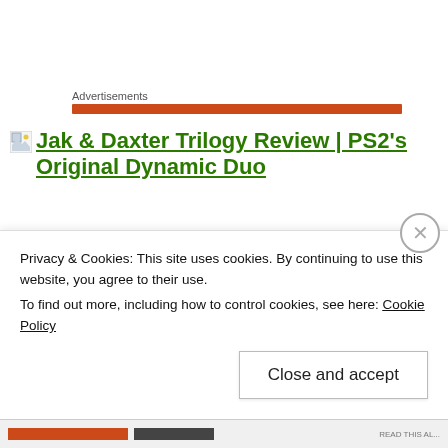Advertisements
[Figure (other): Orange/red horizontal advertisement bar below 'Advertisements' label]
Jak & Daxter Trilogy Review | PS2's Original Dynamic Duo
Privacy & Cookies: This site uses cookies. By continuing to use this website, you agree to their use.
To find out more, including how to control cookies, see here: Cookie Policy
Close and accept